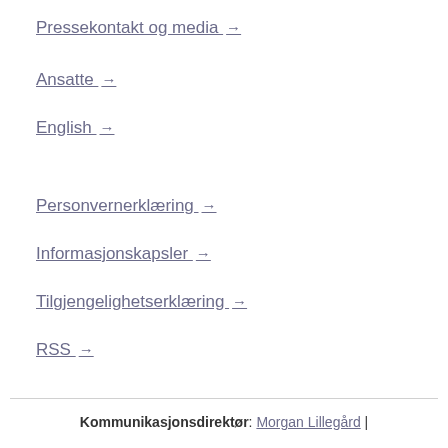Pressekontakt og media →
Ansatte →
English →
Personvernerklæring →
Informasjonskapsler →
Tilgjengelighetserklæring →
RSS →
Kommunikasjonsdirektør: Morgan Lillegård |